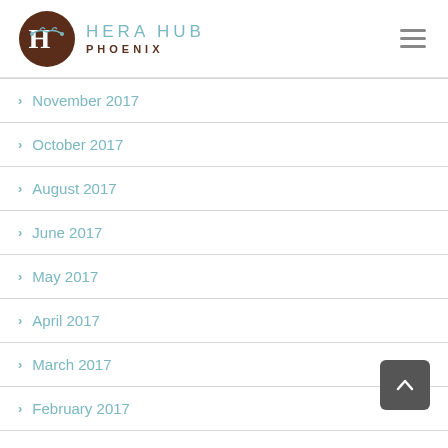Hera Hub Phoenix
November 2017
October 2017
August 2017
June 2017
May 2017
April 2017
March 2017
February 2017